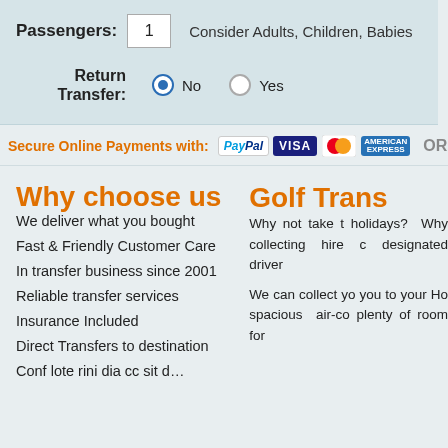Passengers: 1  Consider Adults, Children, Babies
Return Transfer: No  Yes
Secure Online Payments with: [PayPal] [VISA] [Mastercard] [Amex]  OR
Why choose us
We deliver what you bought
Fast & Friendly Customer Care
In transfer business since 2001
Reliable transfer services
Insurance Included
Direct Transfers to destination
Golf Trans
Why not take t holidays?  Why collecting hire c designated driver
We can collect yo you to your Ho spacious air-co plenty of room for